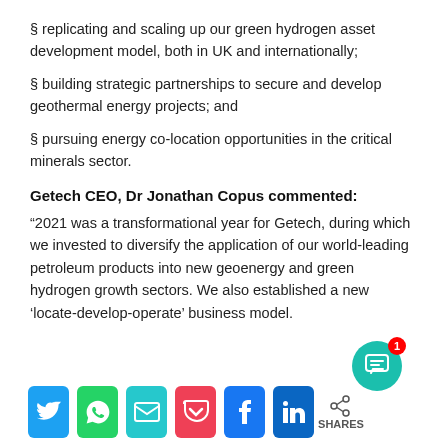§ replicating and scaling up our green hydrogen asset development model, both in UK and internationally;
§ building strategic partnerships to secure and develop geothermal energy projects; and
§ pursuing energy co-location opportunities in the critical minerals sector.
Getech CEO, Dr Jonathan Copus commented:
“2021 was a transformational year for Getech, during which we invested to diversify the application of our world-leading petroleum products into new geoenergy and green hydrogen growth sectors. We also established a new ‘locate-develop-operate’ business model.
[Figure (infographic): Social sharing buttons bar with Twitter, WhatsApp, email, Pocket, Facebook, LinkedIn icons, a share icon, and a SHARES label. A teal chat bubble with notification badge showing 1 is in the bottom right.]